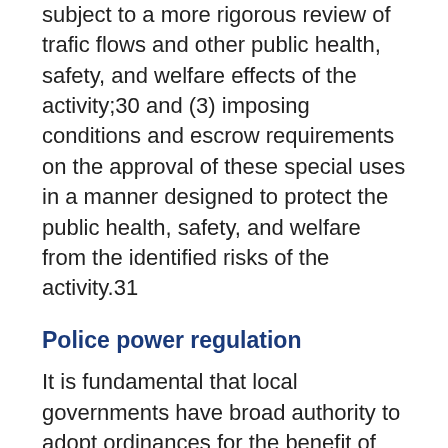subject to a more rigorous review of trafic flows and other public health, safety, and welfare effects of the activity;30 and (3) imposing conditions and escrow requirements on the approval of these special uses in a manner designed to protect the public health, safety, and welfare from the identified risks of the activity.31
Police power regulation
It is fundamental that local governments have broad authority to adopt ordinances for the benefit of the public health, safety, and welfare, and there is a presumption in favor of the constitutionality of an ordinance exercising police power.32 Subject to the specific statelevel preemption detailed previously, fracking effects may be subject to regulation under this broad police power. For example, police power